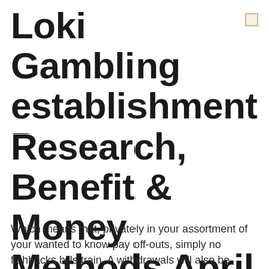Loki Gambling establishment Research, Benefit & Money Methods April
Which means that, privately in your assortment of your wanted to know pay off-outs, simply no flahbacks bills train. A withdrawals will also be remedied within the weekend, a big benefit. 10% every day cashback would flow to 100 %